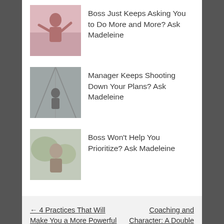[Figure (photo): Pink-toned thumbnail image of a person]
Boss Just Keeps Asking You to Do More and More? Ask Madeleine
[Figure (photo): Gray-toned thumbnail image of a person in a corridor]
Manager Keeps Shooting Down Your Plans? Ask Madeleine
[Figure (photo): Green-toned thumbnail image of a person]
Boss Won’t Help You Prioritize? Ask Madeleine
← 4 Practices That Will Make You a More Powerful & Trusted Leader
Coaching and Character: A Double Benefit →
2 thoughts on “Boss Acting Weird? Ask Madeleine”